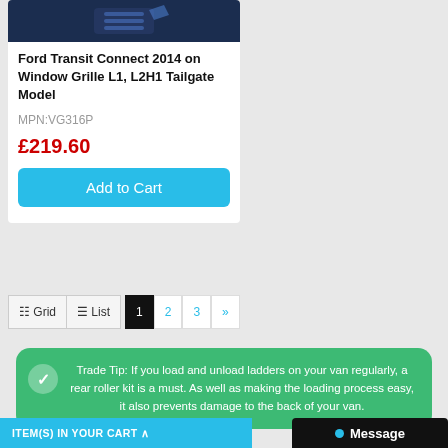[Figure (photo): Dark blue product image of a window grille at top of product card]
Ford Transit Connect 2014 on Window Grille L1, L2H1 Tailgate Model
MPN:VG316P
£219.60
Add to Cart
Grid List 1 2 3 »
Trade Tip: If you load and unload ladders on your van regularly, a rear roller kit is a must. As well as making the loading process easy, it also prevents damage to the back of your van.
ITEM(S) IN YOUR CART  Message